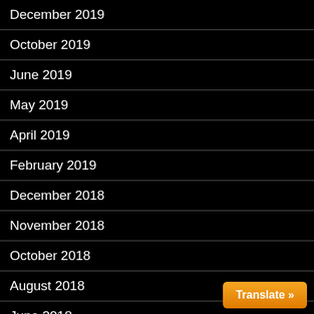December 2019
October 2019
June 2019
May 2019
April 2019
February 2019
December 2018
November 2018
October 2018
August 2018
June 2018
March 2018
January 2018
Translate »